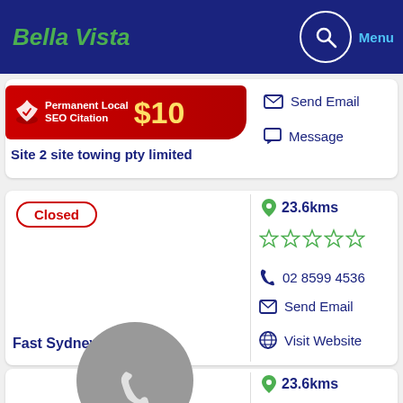Bella Vista
[Figure (screenshot): SEO citation advertisement banner: Permanent Local SEO Citation $10]
Site 2 site towing pty limited
Send Email
Message
Closed
23.6kms
02 8599 4536
Send Email
Visit Website
Fast Sydney Towing
23.6kms
61433443315
Send Email